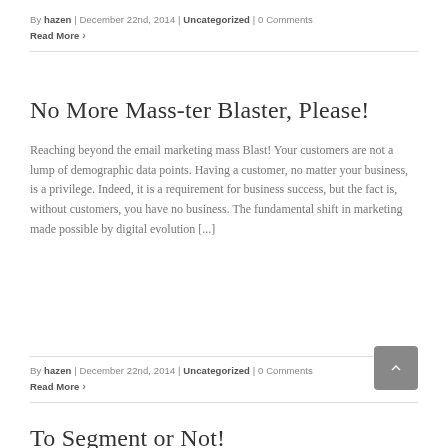By hazen | December 22nd, 2014 | Uncategorized | 0 Comments
Read More ›
No More Mass‑ter Blaster, Please!
Reaching beyond the email marketing mass Blast! Your customers are not a lump of demographic data points. Having a customer, no matter your business, is a privilege. Indeed, it is a requirement for business success, but the fact is, without customers, you have no business. The fundamental shift in marketing made possible by digital evolution [...]
By hazen | December 22nd, 2014 | Uncategorized | 0 Comments
Read More ›
To Segment or Not!